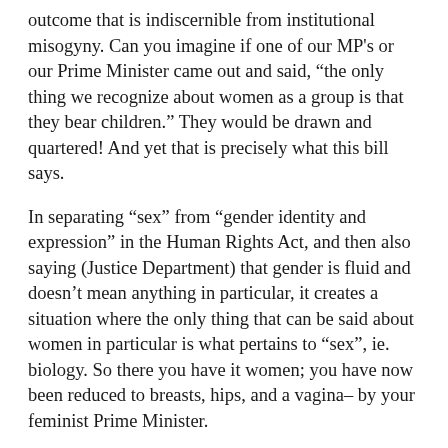outcome that is indiscernible from institutional misogyny. Can you imagine if one of our MP's or our Prime Minister came out and said, “the only thing we recognize about women as a group is that they bear children.” They would be drawn and quartered! And yet that is precisely what this bill says.
In separating “sex” from “gender identity and expression” in the Human Rights Act, and then also saying (Justice Department) that gender is fluid and doesn’t mean anything in particular, it creates a situation where the only thing that can be said about women in particular is what pertains to “sex”, ie. biology. So there you have it women; you have now been reduced to breasts, hips, and a vagina– by your feminist Prime Minister.
If you don’t believe me, simply ask one of the 248 MP’s who voted for the Bill, or a Senator, or our Prime Minister, what is valuable about women? And watch them squirm. #WOMANmeanssomething